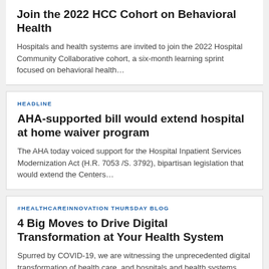Join the 2022 HCC Cohort on Behavioral Health
Hospitals and health systems are invited to join the 2022 Hospital Community Collaborative cohort, a six-month learning sprint focused on behavioral health…
HEADLINE
AHA-supported bill would extend hospital at home waiver program
The AHA today voiced support for the Hospital Inpatient Services Modernization Act (H.R. 7053 /S. 3792), bipartisan legislation that would extend the Centers…
#HEALTHCAREINNOVATION THURSDAY BLOG
4 Big Moves to Drive Digital Transformation at Your Health System
Spurred by COVID-19, we are witnessing the unprecedented digital transformation of health care, and hospitals and health systems that don't rapidly innovate…